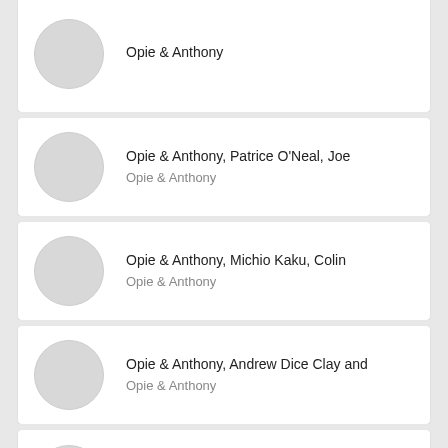Opie & Anthony
Opie & Anthony
Opie & Anthony, Patrice O'Neal, Joe
Opie & Anthony
Opie & Anthony, Michio Kaku, Colin
Opie & Anthony
Opie & Anthony, Andrew Dice Clay and
Opie & Anthony
Opie & Anthony, Anthony Bourdain and
Opie & Anthony